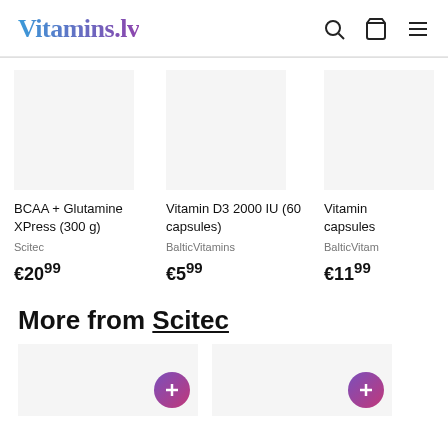Vitamins.lv
BCAA + Glutamine XPress (300 g)
Scitec
€20.99
Vitamin D3 2000 IU (60 capsules)
BalticVitamins
€5.99
Vitamin ... capsules
BalticVitam...
€11.99
More from Scitec
[Figure (screenshot): Two product image placeholders with purple gradient plus/add buttons at bottom right corners]